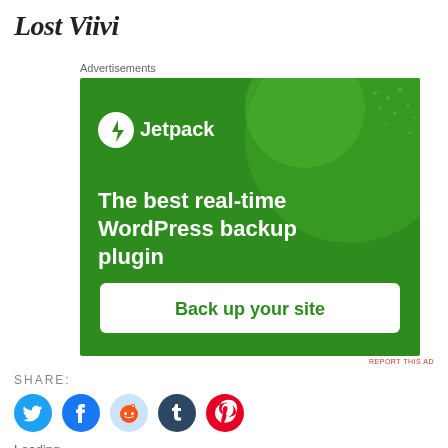Lost Viivi
Advertisements
[Figure (illustration): Jetpack advertisement banner with green background, Jetpack logo with lightning bolt icon, text 'The best real-time WordPress backup plugin', and a white button 'Back up your site']
REPORT THIS AD
SHARE:
[Figure (infographic): Row of five social media share icon buttons: Twitter (cyan), Facebook (blue), Reddit (light blue), Tumblr (dark navy), Pinterest (red)]
Loading...